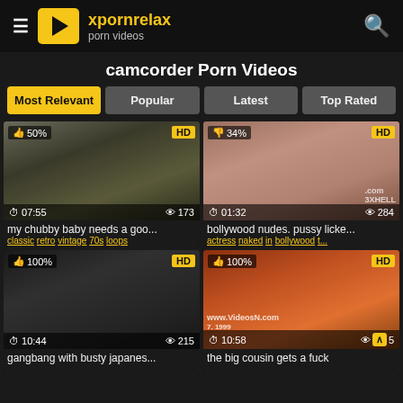xpornrelax porn videos
camcorder Porn Videos
Most Relevant | Popular | Latest | Top Rated
[Figure (screenshot): Video thumbnail 1: 50% rating, HD, 07:55 duration, 173 views. Title: my chubby baby needs a goo... Tags: classic retro vintage 70s loops]
[Figure (screenshot): Video thumbnail 2: 34% rating, HD, 01:32 duration, 284 views. Title: bollywood nudes. pussy licke... Tags: actress naked in bollywood t...]
[Figure (screenshot): Video thumbnail 3: 100% rating, HD, 10:44 duration, 215 views. Title: gangbang with busty japanes...]
[Figure (screenshot): Video thumbnail 4: 100% rating, HD, 10:58 duration, views partially hidden. Title: the big cousin gets a fuck]